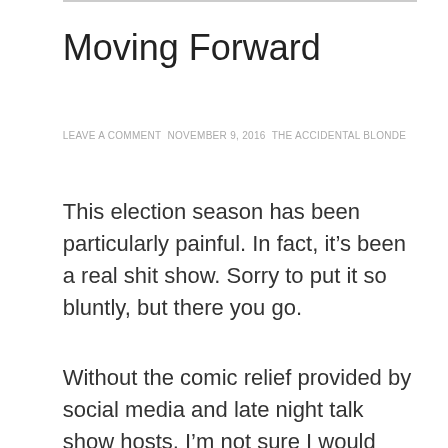Moving Forward
LEAVE A COMMENT NOVEMBER 9, 2016 THE ACCIDENTAL BLONDE
This election season has been particularly painful. In fact, it’s been a real shit show. Sorry to put it so bluntly, but there you go.
Without the comic relief provided by social media and late night talk show hosts, I’m not sure I would have